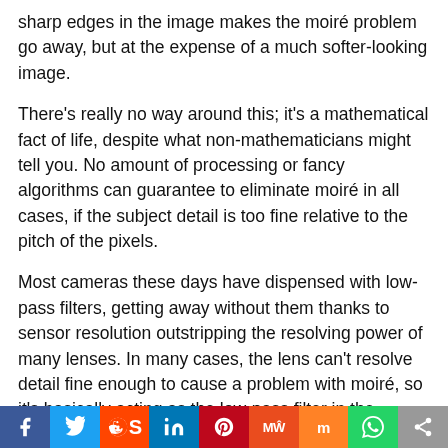sharp edges in the image makes the moiré problem go away, but at the expense of a much softer-looking image.
There's really no way around this; it's a mathematical fact of life, despite what non-mathematicians might tell you. No amount of processing or fancy algorithms can guarantee to eliminate moiré in all cases, if the subject detail is too fine relative to the pitch of the pixels.
Most cameras these days have dispensed with low-pass filters, getting away without them thanks to sensor resolution outstripping the resolving power of many lenses. In many cases, the lens can't resolve detail fine enough to cause a problem with moiré, so it's basically acting as the low-pass filter in the system
[Figure (infographic): Social media sharing bar with icons: Facebook (blue), Twitter (light blue), Reddit (orange-red), LinkedIn (dark blue), Pinterest (red), MeWe (orange), Mix (orange), WhatsApp (green), Share (grey)]